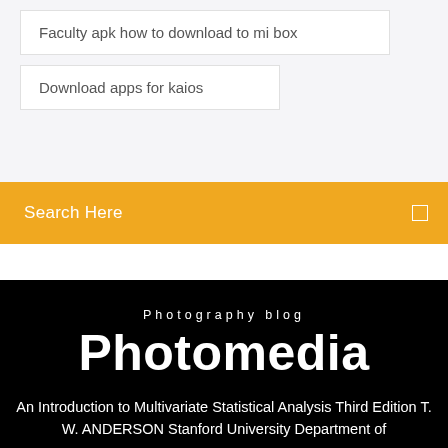Faculty apk how to download to mi box
Download apps for kaios
Search Here
Photography blog
Photomedia
An Introduction to Multivariate Statistical Analysis Third Edition T. W. ANDERSON Stanford University Department of